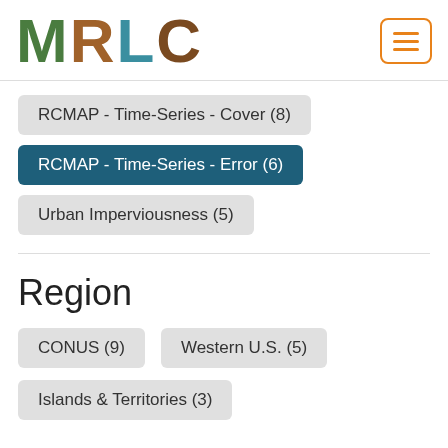[Figure (logo): MRLC logo with nature-textured letters in green, brown, teal, and dark brown colors]
RCMAP - Time-Series - Cover (8)
RCMAP - Time-Series - Error (6)
Urban Imperviousness (5)
Region
CONUS (9)
Western U.S. (5)
Islands & Territories (3)